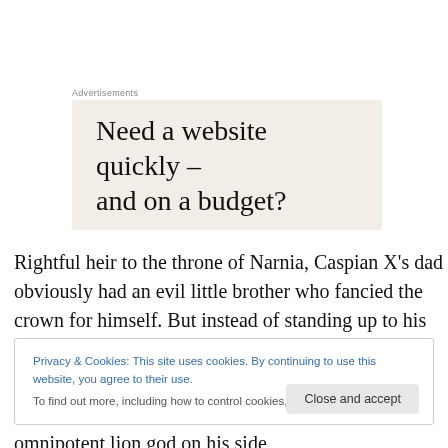Advertisements
[Figure (other): Advertisement banner with beige background reading 'Need a website quickly – and on a budget?']
Rightful heir to the throne of Narnia, Caspian X's dad obviously had an evil little brother who fancied the crown for himself. But instead of standing up to his nasty uncle,
Privacy & Cookies: This site uses cookies. By continuing to use this website, you agree to their use.
To find out more, including how to control cookies, see here: Cookie Policy
Close and accept
omnipotent lion god on his side